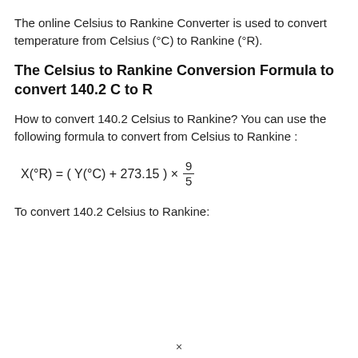The online Celsius to Rankine Converter is used to convert temperature from Celsius (°C) to Rankine (°R).
The Celsius to Rankine Conversion Formula to convert 140.2 C to R
How to convert 140.2 Celsius to Rankine? You can use the following formula to convert from Celsius to Rankine :
To convert 140.2 Celsius to Rankine:
×